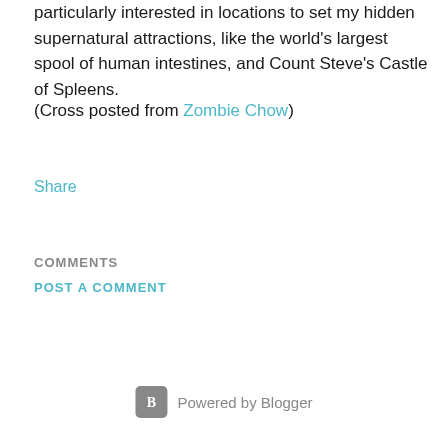particularly interested in locations to set my hidden supernatural attractions, like the world's largest spool of human intestines, and Count Steve's Castle of Spleens.
(Cross posted from Zombie Chow)
Share
COMMENTS
POST A COMMENT
Powered by Blogger